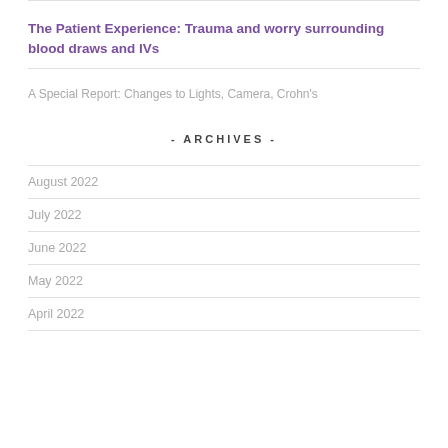The Patient Experience: Trauma and worry surrounding blood draws and IVs
A Special Report: Changes to Lights, Camera, Crohn's
- ARCHIVES -
August 2022
July 2022
June 2022
May 2022
April 2022